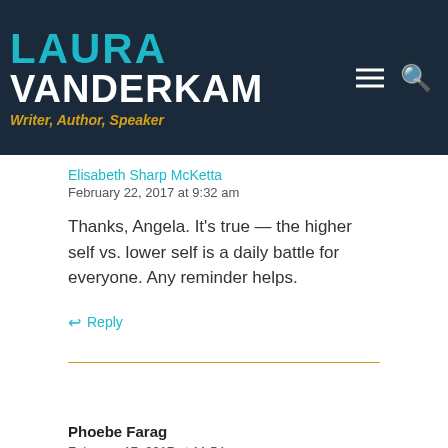LAURA VANDERKAM — Writer, Author, Speaker
Elisabeth Sharp McKetta
February 22, 2017 at 9:32 am
Thanks, Angela. It's true — the higher self vs. lower self is a daily battle for everyone. Any reminder helps.
Reply
Phoebe Farag
February 17, 2017 at 11:54 am